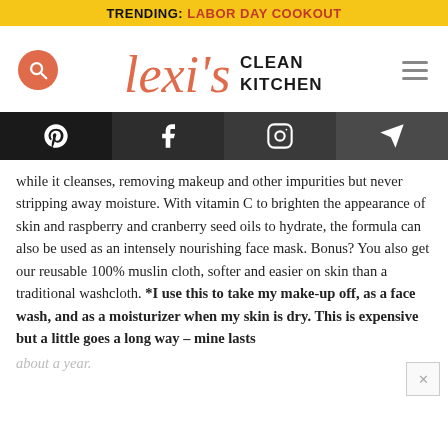TRENDING: LABOR DAY COOKOUT
[Figure (logo): Lexi's Clean Kitchen logo with search button and hamburger menu]
[Figure (infographic): Social media icon bar: Pinterest, Facebook, Instagram, send/email icons on dark background]
while it cleanses, removing makeup and other impurities but never stripping away moisture. With vitamin C to brighten the appearance of skin and raspberry and cranberry seed oils to hydrate, the formula can also be used as an intensely nourishing face mask. Bonus? You also get our reusable 100% muslin cloth, softer and easier on skin than a traditional washcloth. *I use this to take my make-up off, as a face wash, and as a moisturizer when my skin is dry. This is expensive but a little goes a long way – mine lasts
about a year.